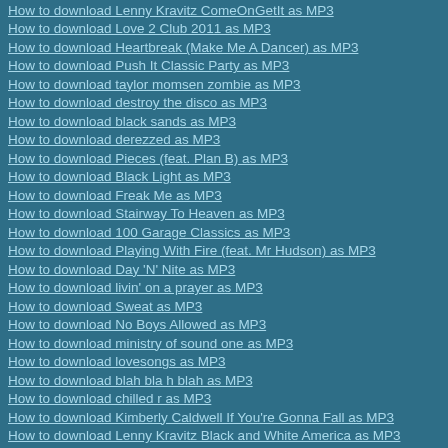How to download Lenny Kravitz ComeOnGetIt as MP3
How to download Love 2 Club 2011 as MP3
How to download Heartbreak (Make Me A Dancer) as MP3
How to download Push It Classic Party as MP3
How to download taylor momsen zombie as MP3
How to download destroy the disco as MP3
How to download black sands as MP3
How to download derezzed as MP3
How to download Pieces (feat. Plan B) as MP3
How to download Black Light as MP3
How to download Freak Me as MP3
How to download Stairway To Heaven as MP3
How to download 100 Garage Classics as MP3
How to download Playing With Fire (feat. Mr Hudson) as MP3
How to download Day 'N' Nite as MP3
How to download livin' on a prayer as MP3
How to download Sweat as MP3
How to download No Boys Allowed as MP3
How to download ministry of sound one as MP3
How to download lovesongs as MP3
How to download blah bla h blah as MP3
How to download chilled r as MP3
How to download Kimberly Caldwell If You're Gonna Fall as MP3
How to download Lenny Kravitz Black and White America as MP3
How to download this is uk mcs as MP3
How to download warrior's dance as MP3
How to download bright eyes ladder song as MP3
How to download human behaviour as MP3
How to download metallika broken beat and scarred as MP3
How to download Last Christmas as MP3